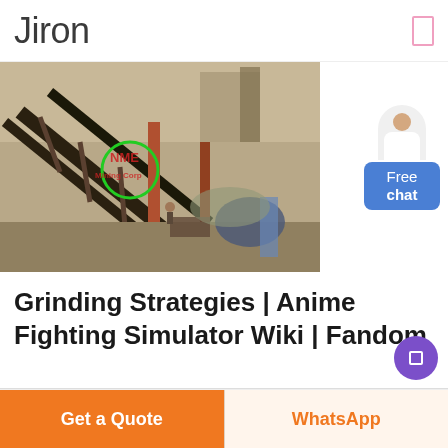Jiron
[Figure (photo): Industrial machinery photo showing conveyor belts and heavy equipment at a construction or mining site, with a green circular watermark overlay]
Grinding Strategies | Anime Fighting Simulator Wiki | Fandom
Free chat
Get a Quote   WhatsApp